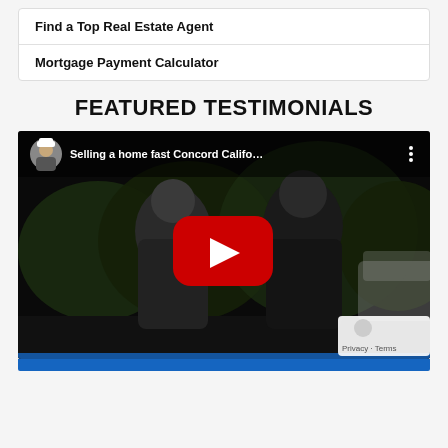Find a Top Real Estate Agent
Mortgage Payment Calculator
FEATURED TESTIMONIALS
[Figure (screenshot): YouTube video thumbnail showing two men standing outside at night with a YouTube play button overlay. Video title reads 'Selling a home fast Concord Califo…'. A small circular avatar of a man in a cap appears in the top-left of the video player.]
Privacy · Terms